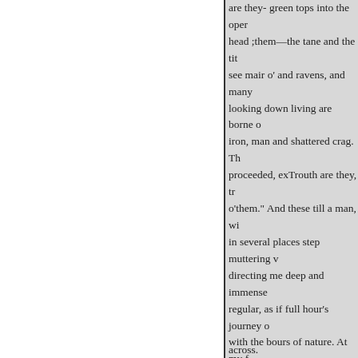are they- green tops into the oper head ;them—the tane and the tit see mair o' and ravens, and many looking down living are borne o iron, man and shattered crag. Th proceeded, exTrouth are they, tr o'them." And these till a man, w in several places step muttering directing me deep and immense regular, as if full hour's journey with the bours of nature. At my f in the path.

many a pool and trough, covered Cameronian Linn, from the re- t rock with its seams of golden cl fragrant with the bloom of sum opened and gave to view a long usual to those who wished to wa places had the hands of man bee
across.